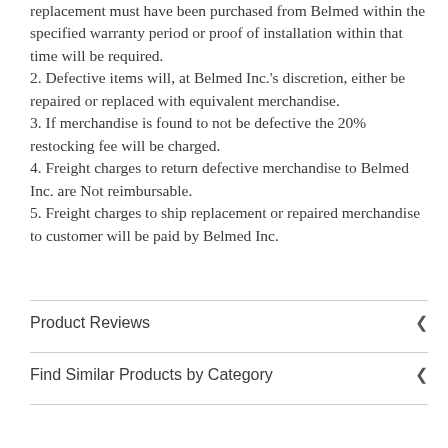replacement must have been purchased from Belmed within the specified warranty period or proof of installation within that time will be required.
2. Defective items will, at Belmed Inc.'s discretion, either be repaired or replaced with equivalent merchandise.
3. If merchandise is found to not be defective the 20% restocking fee will be charged.
4. Freight charges to return defective merchandise to Belmed Inc. are Not reimbursable.
5. Freight charges to ship replacement or repaired merchandise to customer will be paid by Belmed Inc.
Product Reviews
Find Similar Products by Category